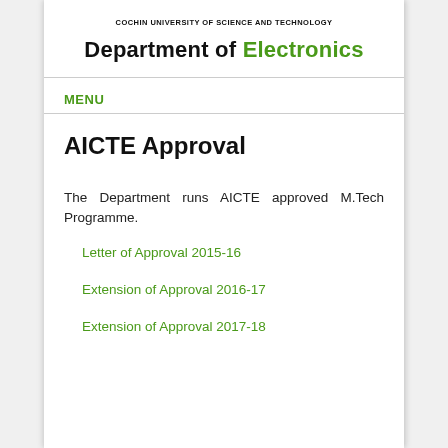COCHIN UNIVERSITY OF SCIENCE AND TECHNOLOGY
Department of Electronics
MENU
AICTE Approval
The Department runs AICTE approved M.Tech Programme.
Letter of Approval 2015-16
Extension of Approval 2016-17
Extension of Approval 2017-18